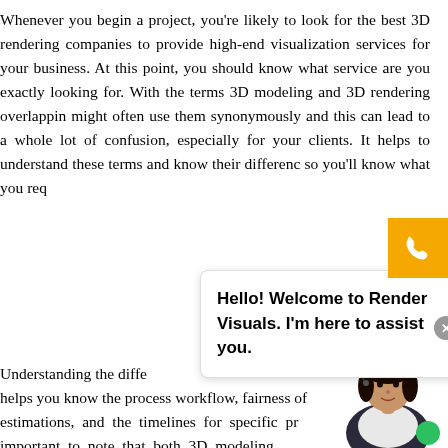Whenever you begin a project, you're likely to look for the best 3D rendering companies to provide high-end visualization services for your business. At this point, you should know what service are you exactly looking for. With the terms 3D modeling and 3D rendering overlapping, you might often use them synonymously and this can lead to a whole lot of confusion, especially for your clients. It helps to understand these terms and know their differences so you'll know what you req...
[Figure (screenshot): Chat widget overlay showing 'Hello! Welcome to Render Visuals. I'm here to assist you.' with a phone button (yellow/orange), close button, and avatar of a woman.]
Understanding the diffe... also helps you know the process workflow, fairness of the estimations, and the timelines for specific pr... important to note that both 3D modeling...